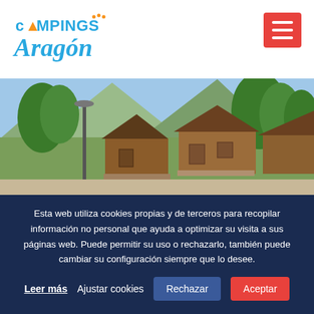[Figure (logo): Campings Aragón logo with stylized text in blue and orange]
[Figure (photo): Wooden mountain cabin bungalows at a campsite with trees and mountains in the background]
Esta web utiliza cookies propias y de terceros para recopilar información no personal que ayuda a optimizar su visita a sus páginas web. Puede permitir su uso o rechazarlo, también puede cambiar su configuración siempre que lo desee.
Leer más   Ajustar cookies   Rechazar   Aceptar